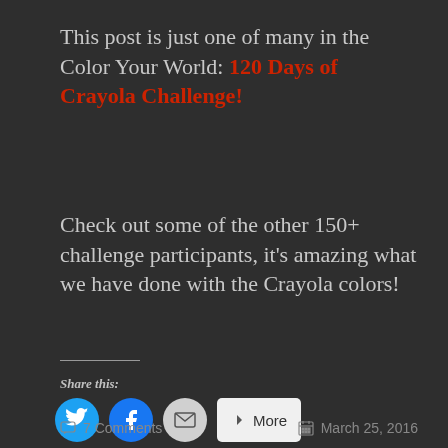This post is just one of many in the Color Your World: 120 Days of Crayola Challenge!
Check out some of the other 150+ challenge participants, it's amazing what we have done with the Crayola colors!
Share this:
[Figure (other): Social share buttons: Twitter (blue bird icon), Facebook (blue f icon), Email (grey envelope icon), More button]
Loading...
7 Comments   March 25, 2016